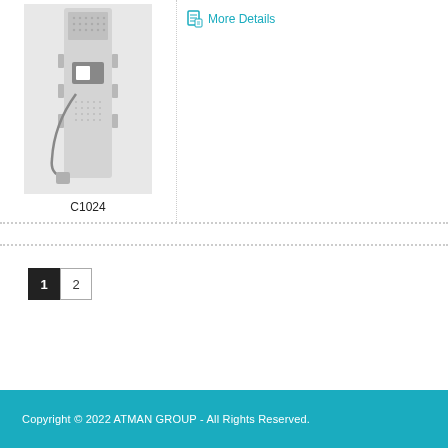[Figure (photo): Product photo of a shower panel (C1024), tall vertical unit in light gray/silver finish with handheld showerhead and hose attached, mounted on white background.]
C1024
More Details
1
2
Copyright © 2022 ATMAN GROUP - All Rights Reserved.